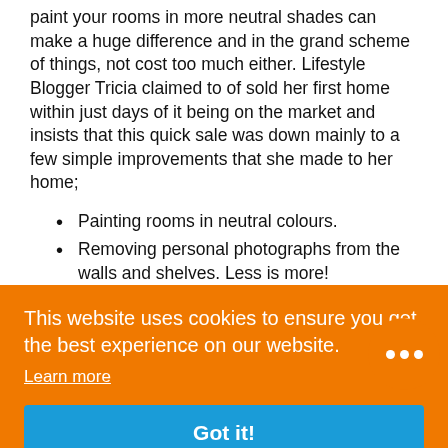paint your rooms in more neutral shades can make a huge difference and in the grand scheme of things, not cost too much either. Lifestyle Blogger Tricia claimed to of sold her first home within just days of it being on the market and insists that this quick sale was down mainly to a few simple improvements that she made to her home;
Painting rooms in neutral colours.
Removing personal photographs from the walls and shelves. Less is more!
Cleaning up the front porch.
This website uses cookies to ensure you get the best experience on our website.
Learn more
Got it!
[Figure (photo): Partial outdoor photo visible at the bottom of the page, showing garden or nature scene in dark blue-green tones.]